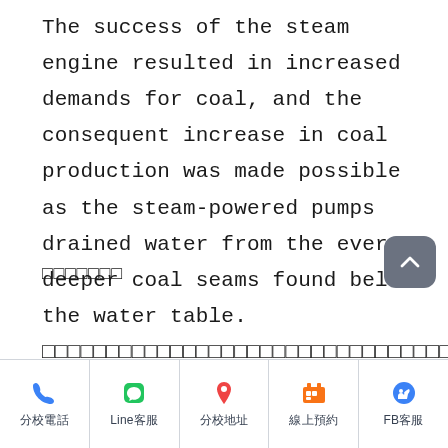The success of the steam engine resulted in increased demands for coal, and the consequent increase in coal production was made possible as the steam-powered pumps drained water from the ever-deeper coal seams found below the water table. □□□□□□□□□□□□□□□□□□□□□□□□□□□□□□□□□□□□□□□□□□□□□□□□□□□□□□□□□□□□□□□□□□□□□□□□□□□□□□□□□□□□□□□A□□
□□□□□□□
分校電話 | Line客服 | 分校地址 | 線上預約 | FB客服